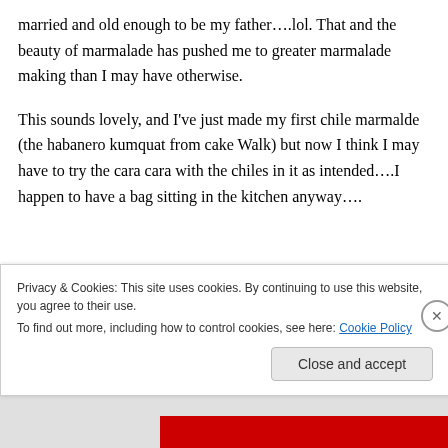married and old enough to be my father….lol. That and the beauty of marmalade has pushed me to greater marmalade making than I may have otherwise.
This sounds lovely, and I've just made my first chile marmalde (the habanero kumquat from cake Walk) but now I think I may have to try the cara cara with the chiles in it as intended….I happen to have a bag sitting in the kitchen anyway….
Privacy & Cookies: This site uses cookies. By continuing to use this website, you agree to their use.
To find out more, including how to control cookies, see here: Cookie Policy